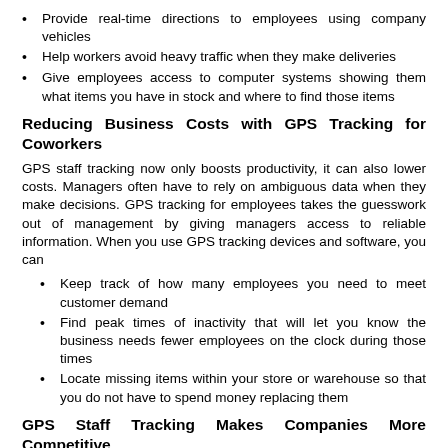Provide real-time directions to employees using company vehicles
Help workers avoid heavy traffic when they make deliveries
Give employees access to computer systems showing them what items you have in stock and where to find those items
Reducing Business Costs with GPS Tracking for Coworkers
GPS staff tracking now only boosts productivity, it can also lower costs. Managers often have to rely on ambiguous data when they make decisions. GPS tracking for employees takes the guesswork out of management by giving managers access to reliable information. When you use GPS tracking devices and software, you can
Keep track of how many employees you need to meet customer demand
Find peak times of inactivity that will let you know the business needs fewer employees on the clock during those times
Locate missing items within your store or warehouse so that you do not have to spend money replacing them
GPS Staff Tracking Makes Companies More Competitive
Whether you manage a retail store, a shipping business, or any other kind of company that requires several employees, GPS staff tracking can make your business more competitive. When you reduce costs and improve productivity, you can keep prices down for your customers